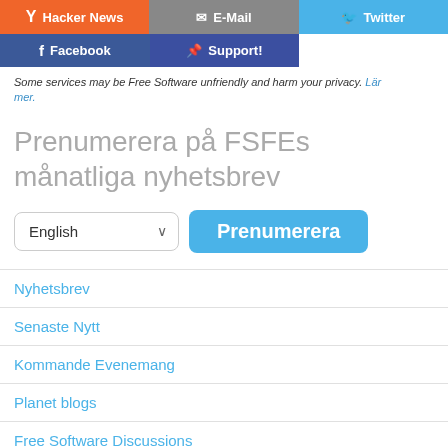[Figure (screenshot): Social media sharing buttons row: Hacker News (orange), E-Mail (grey), Twitter (blue)]
[Figure (screenshot): Social media sharing buttons row: Facebook (dark blue), Support! (navy blue)]
Some services may be Free Software unfriendly and harm your privacy. Lär mer.
Prenumerera på FSFEs månatliga nyhetsbrev
[Figure (screenshot): Language dropdown (English) and Prenumerera (subscribe) button]
Nyhetsbrev
Senaste Nytt
Kommande Evenemang
Planet blogs
Free Software Discussions
[Figure (screenshot): Green 'Become a supporter' button]